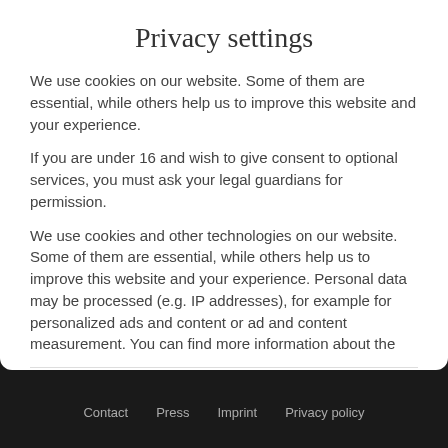Privacy settings
We use cookies on our website. Some of them are essential, while others help us to improve this website and your experience.
If you are under 16 and wish to give consent to optional services, you must ask your legal guardians for permission.
We use cookies and other technologies on our website. Some of them are essential, while others help us to improve this website and your experience. Personal data may be processed (e.g. IP addresses), for example for personalized ads and content or ad and content measurement. You can find more information about the
Essential (checked)
Statistics (unchecked)
Marketing (unchecked)
External media (unchecked)
Contact   Press   Imprint   Privacy policy